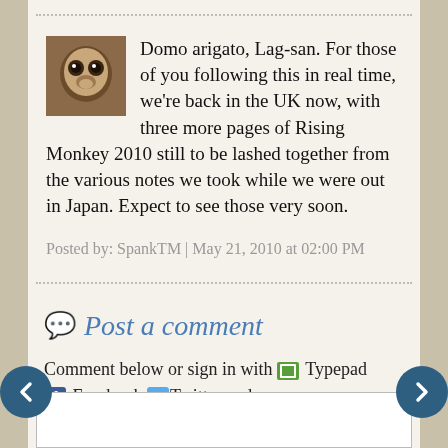Domo arigato, Lag-san. For those of you following this in real time, we're back in the UK now, with three more pages of Rising Monkey 2010 still to be lashed together from the various notes we took while we were out in Japan. Expect to see those very soon.
Posted by: SpankTM | May 21, 2010 at 02:00 PM
Post a comment
Comment below or sign in with Typepad Facebook Twitter and more...